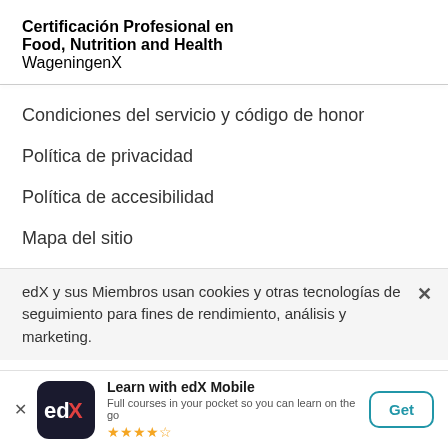Certificación Profesional en Food, Nutrition and Health
WageningenX
Condiciones del servicio y código de honor
Política de privacidad
Política de accesibilidad
Mapa del sitio
Elige el idioma
edX y sus Miembros usan cookies y otras tecnologías de seguimiento para fines de rendimiento, análisis y marketing.
Learn with edX Mobile
Full courses in your pocket so you can learn on the go
★★★★½